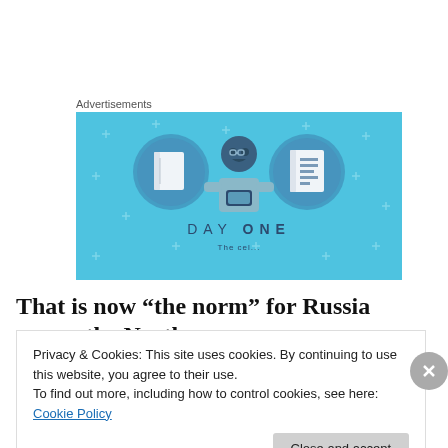Advertisements
[Figure (illustration): Day One app advertisement banner with blue background showing a person holding a phone between two notebook icons, text reading DAY ONE and subtitle below]
That is now “the norm” for Russia across the North
Privacy & Cookies: This site uses cookies. By continuing to use this website, you agree to their use.
To find out more, including how to control cookies, see here: Cookie Policy
Close and accept